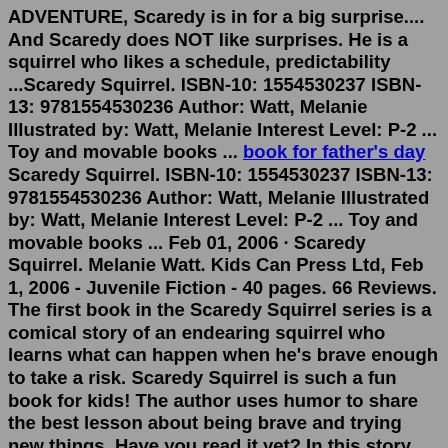ADVENTURE, Scaredy is in for a big surprise.... And Scaredy does NOT like surprises. He is a squirrel who likes a schedule, predictability ...Scaredy Squirrel. ISBN-10: 1554530237 ISBN-13: 9781554530236 Author: Watt, Melanie Illustrated by: Watt, Melanie Interest Level: P-2 ... Toy and movable books ... book for father's day Scaredy Squirrel. ISBN-10: 1554530237 ISBN-13: 9781554530236 Author: Watt, Melanie Illustrated by: Watt, Melanie Interest Level: P-2 ... Toy and movable books ... Feb 01, 2006 · Scaredy Squirrel. Melanie Watt. Kids Can Press Ltd, Feb 1, 2006 - Juvenile Fiction - 40 pages. 66 Reviews. The first book in the Scaredy Squirrel series is a comical story of an endearing squirrel who learns what can happen when he's brave enough to take a risk. Scaredy Squirrel is such a fun book for kids! The author uses humor to share the best lesson about being brave and trying new things. Have you read it yet? In this story, Scaredy Squirrel stays up in his tree all day every day. He's scared of bees, martians,